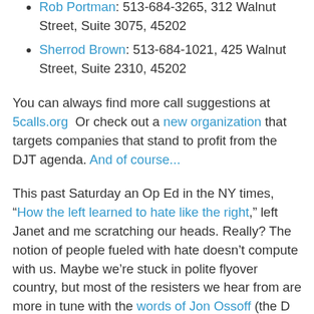St., Suite 3003, 45202
Rob Portman: 513-684-3265, 312 Walnut Street, Suite 3075, 45202
Sherrod Brown: 513-684-1021, 425 Walnut Street, Suite 2310, 45202
You can always find more call suggestions at 5calls.org  Or check out a new organization that targets companies that stand to profit from the DJT agenda. And of course...
This past Saturday an Op Ed in the NY times, “How the left learned to hate like the right,” left Janet and me scratching our heads. Really? The notion of people fueled with hate doesn’t compute with us. Maybe we’re stuck in polite flyover country, but most of the resisters we hear from are more in tune with the words of Jon Ossoff (the D who is running for the Georgia House seat formerly held by now HSS Sec.